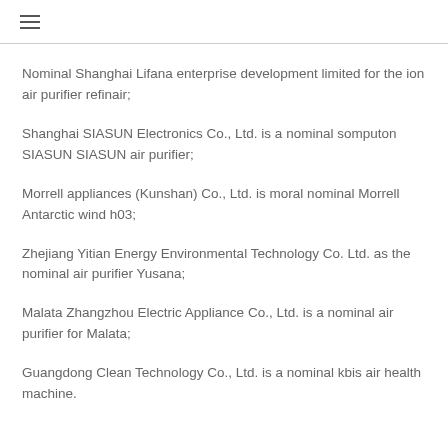≡
Nominal Shanghai Lifana enterprise development limited for the ion air purifier refinair;
Shanghai SIASUN Electronics Co., Ltd. is a nominal somputon SIASUN SIASUN air purifier;
Morrell appliances (Kunshan) Co., Ltd. is moral nominal Morrell Antarctic wind h03;
Zhejiang Yitian Energy Environmental Technology Co. Ltd. as the nominal air purifier Yusana;
Malata Zhangzhou Electric Appliance Co., Ltd. is a nominal air purifier for Malata;
Guangdong Clean Technology Co., Ltd. is a nominal kbis air health machine.